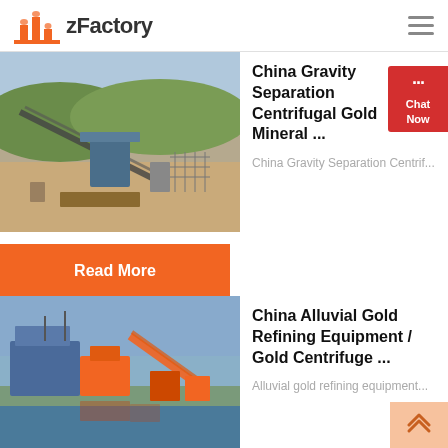zFactory
[Figure (photo): Mining/crushing facility with conveyor belt and equipment on sandy terrain with hills in background]
China Gravity Separation Centrifugal Gold Mineral ...
China Gravity Separation Centrif...
Read More
[Figure (photo): Gold refining/alluvial gold processing equipment with orange machinery near water]
China Alluvial Gold Refining Equipment / Gold Centrifuge ...
Alluvial gold refining equipment...